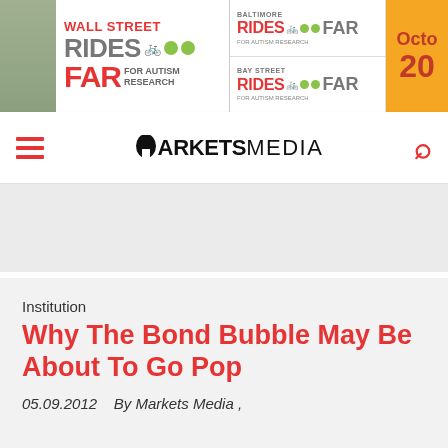[Figure (other): Banner advertisement for Wall Street Rides FAR for Autism Research, Baltimore Rides FAR, Bay Street Rides FAR, with October date badge]
MARKETS MEDIA
[Figure (other): Gray placeholder content area]
Institution
Why The Bond Bubble May Be About To Go Pop
05.09.2012    By Markets Media ,